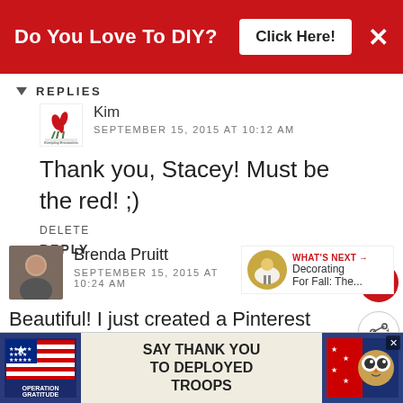Do You Love To DIY? Click Here!
REPLIES
Kim
SEPTEMBER 15, 2015 AT 10:12 AM
Thank you, Stacey! Must be the red! ;)
DELETE
REPLY
Brenda Pruitt
SEPTEMBER 15, 2015 AT 10:24 AM
Beautiful! I just created a Pinterest
[Figure (infographic): Operation Gratitude ad: SAY THANK YOU TO DEPLOYED TROOPS with American flag imagery and mascot owl]
WHAT'S NEXT → Decorating For Fall: The...